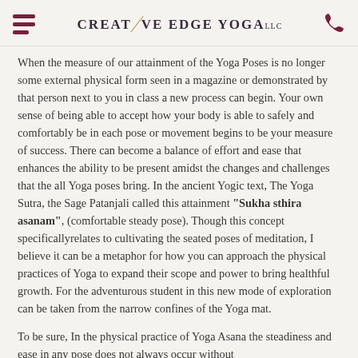CREATIVE EDGE YOGA LLC
When the measure of our attainment of the Yoga Poses is no longer some external physical form seen in a magazine or demonstrated by that person next to you in class a new process can begin. Your own sense of being able to accept how your body is able to safely and comfortably be in each pose or movement begins to be your measure of success. There can become a balance of effort and ease that enhances the ability to be present amidst the changes and challenges that the all Yoga poses bring. In the ancient Yogic text, The Yoga Sutra, the Sage Patanjali called this attainment "Sukha sthira asanam", (comfortable steady pose). Though this concept specificallyrelates to cultivating the seated poses of meditation, I believe it can be a metaphor for how you can approach the physical practices of Yoga to expand their scope and power to bring healthful growth. For the adventurous student in this new mode of exploration can be taken from the narrow confines of the Yoga mat.
To be sure, In the physical practice of Yoga Asana the steadiness and ease in any pose does not always occur without